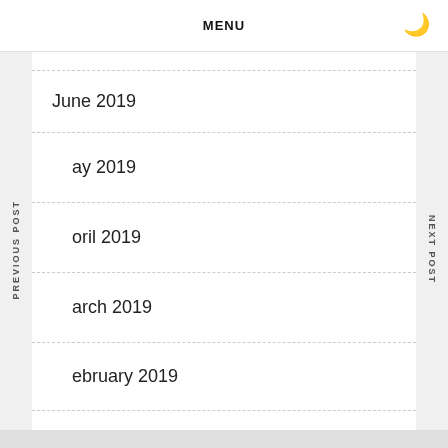MENU
June 2019
ay 2019
oril 2019
arch 2019
ebruary 2019
January 2019